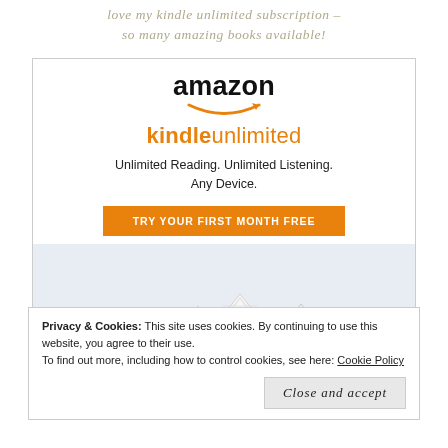love my kindle unlimited subscription – so many amazing books available!
[Figure (infographic): Amazon Kindle Unlimited advertisement showing the Amazon logo with smile arrow, Kindle Unlimited branding in orange, tagline 'Unlimited Reading. Unlimited Listening. Any Device.', an orange 'TRY YOUR FIRST MONTH FREE' button, and a photo of paper boats made from book pages floating above an open book.]
Privacy & Cookies: This site uses cookies. By continuing to use this website, you agree to their use.
To find out more, including how to control cookies, see here: Cookie Policy
Close and accept